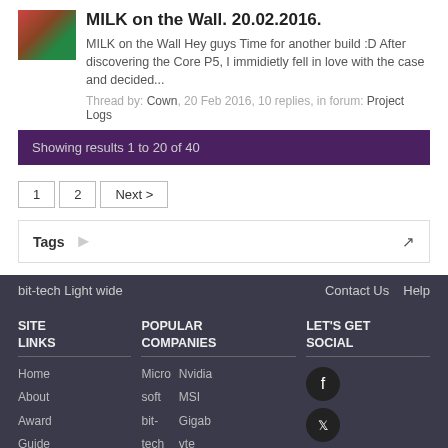MILK on the Wall. 20.02.2016.
MILK on the Wall Hey guys Time for another build :D After discovering the Core P5, I immidietly fell in love with the case and decided...
Thread by: Cown, 20 Feb 2016, 10 replies, in forum: Project Logs
Showing results 1 to 20 of 40
1  2  Next >
Tags
bit-tech Light wide    Contact Us  Help
SITE LINKS
Home
About
Award Guide
Email
Editor
Terms
Advertise
Forum
POPULAR COMPANIES
Microsoft  Nvidia
bit-tech  MSI
AMD  Gigabyte
Intel  Sony
Asus  Corsair
LET'S GET SOCIAL